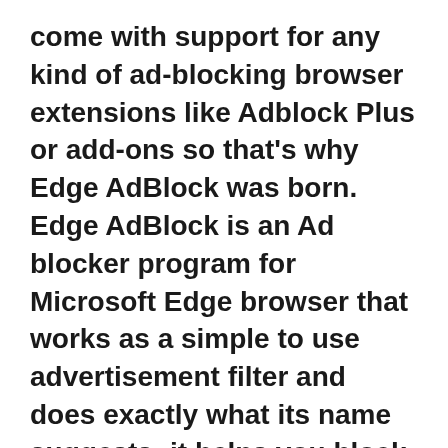come with support for any kind of ad-blocking browser extensions like Adblock Plus or add-ons so that's why Edge AdBlock was born. Edge AdBlock is an Ad blocker program for Microsoft Edge browser that works as a simple to use advertisement filter and does exactly what its name suggests: it helps you block
Add-ons are like apps that you install to add features to Waterfox. They let you compare prices, check the weather, listen to music, send a tweet and more. Get add-ons from the following places: Archived Add-ons for Firefox: This is an archive of the Firefox add-on page when it had all add-ons available for every version. The search
téléchargement torrent tv